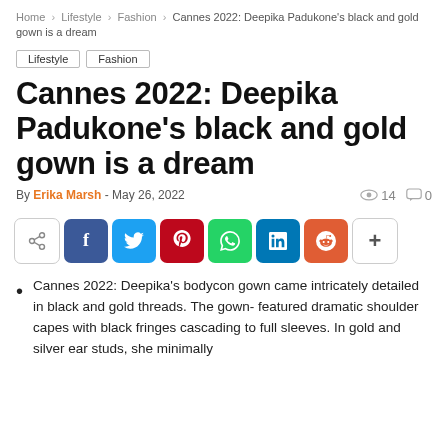Home > Lifestyle > Fashion > Cannes 2022: Deepika Padukone's black and gold gown is a dream
Lifestyle
Fashion
Cannes 2022: Deepika Padukone's black and gold gown is a dream
By Erika Marsh - May 26, 2022  👁 14  💬 0
[Figure (infographic): Social sharing bar with icons: share (generic), Facebook, Twitter, Pinterest, WhatsApp, LinkedIn, Reddit, and a plus button]
Cannes 2022: Deepika's bodycon gown came intricately detailed in black and gold threads. The gown- featured dramatic shoulder capes with black fringes cascading to full sleeves. In gold and silver ear studs, she minimally